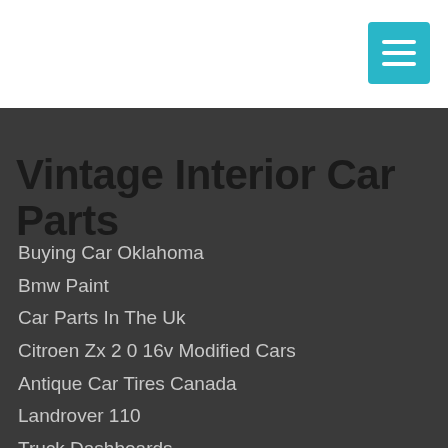Vintage Interior Car Parts
Buying Car Oklahoma
Bmw Paint
Car Parts In The Uk
Citroen Zx 2 0 16v Modified Cars
Antique Car Tires Canada
Landrover 110
Truck Dashboards
Pontiac Gto The Judge
Car Lincoln Ne
Inflatable Race Car
1973 Hub Caps
Vintage Carburetor Linkage